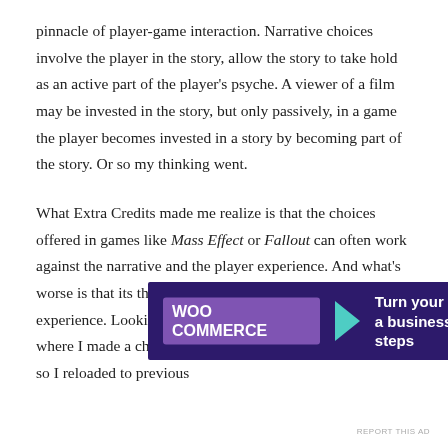pinnacle of player-game interaction. Narrative choices involve the player in the story, allow the story to take hold as an active part of the player's psyche. A viewer of a film may be invested in the story, but only passively, in a game the player becomes invested in a story by becoming part of the story. Or so my thinking went.
What Extra Credits made me realize is that the choices offered in games like Mass Effect or Fallout can often work against the narrative and the player experience. And what's worse is that its the player – me – that is destroying the experience. Looking back, I can identify multiple occasions where I made a choice in a game that I was not happy with, so I reloaded to previous
Advertisements
[Figure (other): WooCommerce advertisement banner on dark purple background with teal arrow, orange and blue decorative circles. Text reads: Turn your hobby into a business in 8 steps]